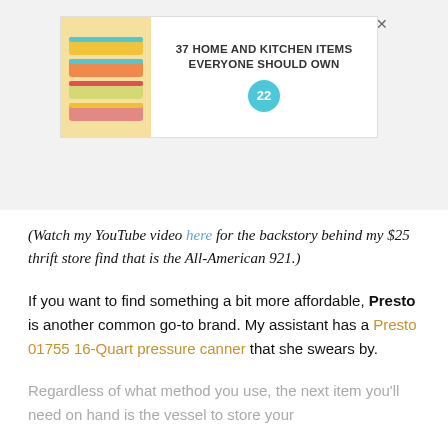[Figure (other): Advertisement banner: image of colorful storage bags on left, text '37 HOME AND KITCHEN ITEMS EVERYONE SHOULD OWN' with a teal badge showing '22', and an X close button.]
(Watch my YouTube video here for the backstory behind my $25 thrift store find that is the All-American 921.)
If you want to find something a bit more affordable, Presto is another common go-to brand. My assistant has a Presto 01755 16-Quart pressure canner that she swears by.
Regardless of what method you use, the next item you'll need on hand is the vessel to store your